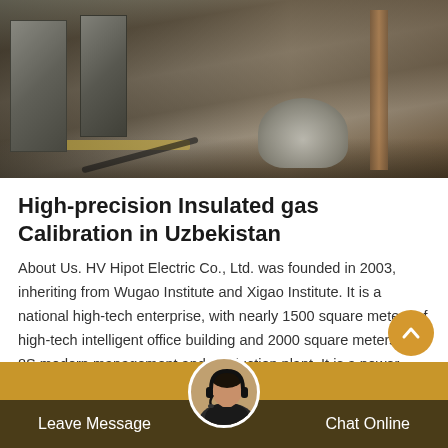[Figure (photo): Industrial/electrical equipment outdoor installation scene, showing cables, metal enclosures, and covered equipment on a yellow platform, with workers or figures visible in background.]
High-precision Insulated gas Calibration in Uzbekistan
About Us. HV Hipot Electric Co., Ltd. was founded in 2003, inheriting from Wugao Institute and Xigao Institute. It is a national high-tech enterprise, with nearly 1500 square meters of high-tech intelligent office building and 2000 square meters of 8S modern management and production plant. It is a power system integrated operator with the core
Leave Message   Chat Online